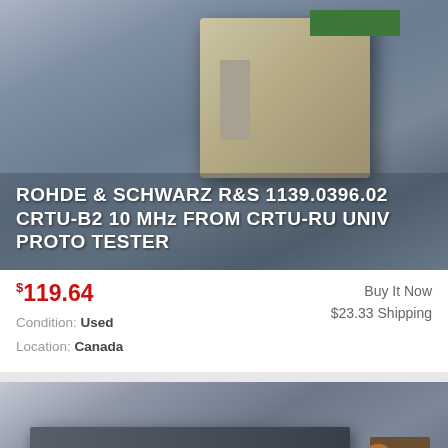[Figure (photo): Photo of Rohde & Schwarz R&S 1139.0396.02 CRTU-B2 10 MHz electronic component module with green PCB board, overlaid with product title text in white]
$119.64  Buy It Now  $23.33 Shipping  Condition: Used  Location: Canada
[Figure (photo): Photo of Rohde & Schwarz CMU 200 Universal Radio Communication Tester rack-mount equipment, partially visible, with product title text in white]